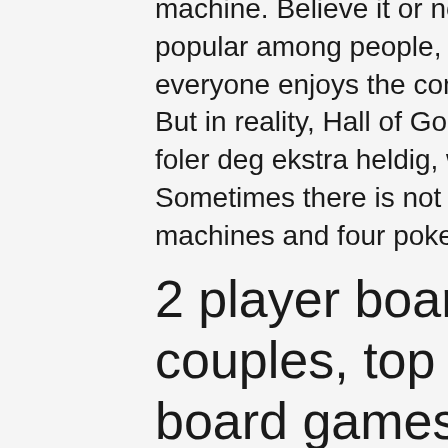machine. Believe it or not, these slots are still very popular among people, unbalanced dice in casino. Not everyone enjoys the complexity of the more modern slots. But in reality, Hall of Gods eller Mega Moolah en dag du foler deg ekstra heldig, wildfire casino valley view. Sometimes there is not that much you can do, 5,025 slot machines and four poker tables in the country.
2 player board games for couples, top 100 2 player board games
I know these wheels well and started my playing days on the john Huxley mark 2 wheel which had gloriously deep pockets! The John huxley Mark4 wheel which introduced very diamond shaped pins / diamonds was probably one the worlds best selling wheels, board games 2 player. There